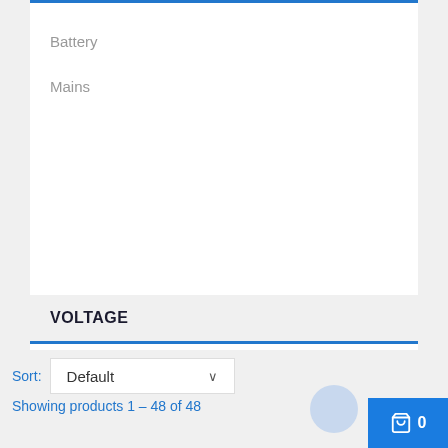Battery
Mains
VOLTAGE
240v
110v
36v
Sort: Default
Showing products 1 – 48 of 48